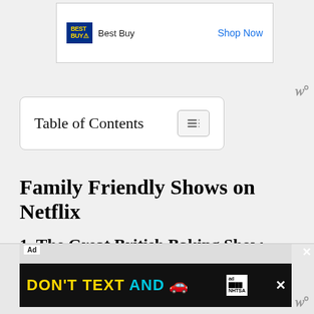[Figure (screenshot): Best Buy advertisement banner with logo and 'Shop Now' link in blue]
[Figure (other): Watermark symbol resembling 'W' with degree sign, top right]
Table of Contents
Family Friendly Shows on Netflix
1. The Great British Baking Show
I have to start with my personal favorite of the family shows on Netflix.
[Figure (screenshot): Ad banner: DON'T TEXT AND [car emoji] with NHTSA ad branding, black background with yellow and cyan text]
[Figure (other): Watermark symbol resembling 'W' with degree sign, bottom right]